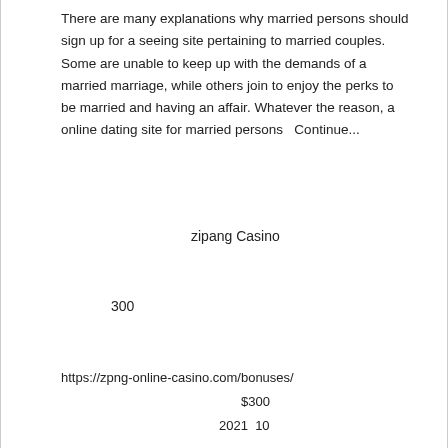There are many explanations why married persons should sign up for a seeing site pertaining to married couples. Some are unable to keep up with the demands of a married marriage, while others join to enjoy the perks to be married and having an affair. Whatever the reason, a online dating site for married persons  Continue...
zipang Casino
300
https://zpng-online-casino.com/bonuses/
$300
2021  10